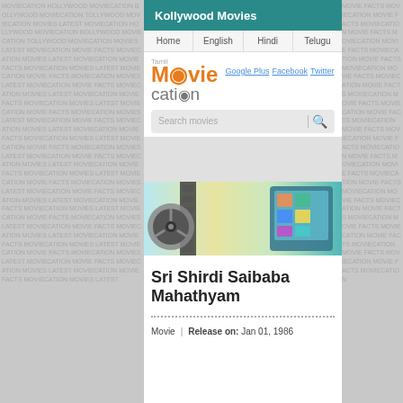Kollywood Movies
Home | English | Hindi | Telugu
[Figure (logo): TamilMoviecation logo with orange Movie text and grey cation text]
Google Plus  Facebook  Twitter
Search movies
[Figure (photo): Movie banner with film reel and digital screen display]
Sri Shirdi Saibaba Mahathyam
Movie  |  Release on: Jan 01, 1986